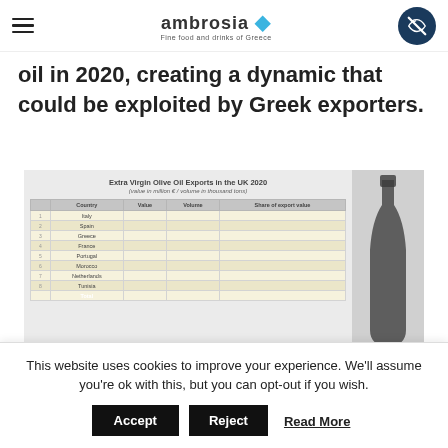ambrosia — Fine food and drinks of Greece
oil in 2020, creating a dynamic that could be exploited by Greek exporters.
[Figure (table-as-image): Extra Virgin Olive Oil Exports in the UK 2020 table showing country rankings by value (million €), volume (thousand tons), and share of export value, with a decorative olive oil bottle on the right side.]
This website uses cookies to improve your experience. We'll assume you're ok with this, but you can opt-out if you wish.
Accept
Reject
Read More